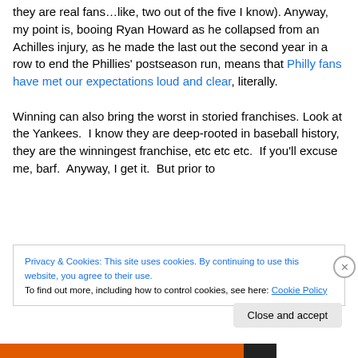they are real fans…like, two out of the five I know). Anyway, my point is, booing Ryan Howard as he collapsed from an Achilles injury, as he made the last out the second year in a row to end the Phillies' postseason run, means that Philly fans have met our expectations loud and clear, literally.
Winning can also bring the worst in storied franchises. Look at the Yankees.  I know they are deep-rooted in baseball history, they are the winningest franchise, etc etc etc.  If you'll excuse me, barf.  Anyway, I get it.  But prior to
Privacy & Cookies: This site uses cookies. By continuing to use this website, you agree to their use.
To find out more, including how to control cookies, see here: Cookie Policy